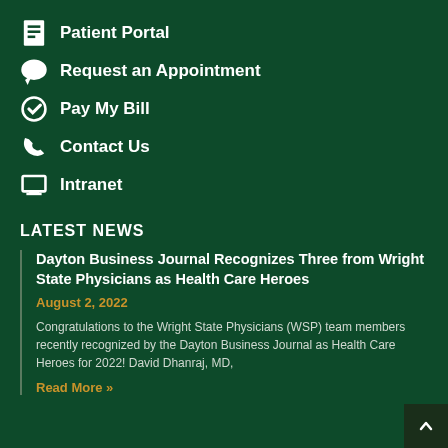Patient Portal
Request an Appointment
Pay My Bill
Contact Us
Intranet
LATEST NEWS
Dayton Business Journal Recognizes Three from Wright State Physicians as Health Care Heroes
August 2, 2022
Congratulations to the Wright State Physicians (WSP) team members recently recognized by the Dayton Business Journal as Health Care Heroes for 2022! David Dhanraj, MD,
Read More »